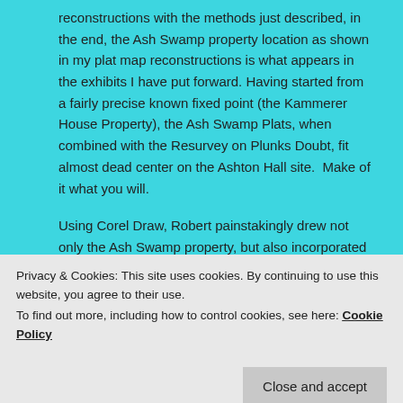reconstructions with the methods just described, in the end, the Ash Swamp property location as shown in my plat map reconstructions is what appears in the exhibits I have put forward. Having started from a fairly precise known fixed point (the Kammerer House Property), the Ash Swamp Plats, when combined with the Resurvey on Plunks Doubt, fit almost dead center on the Ashton Hall site.  Make of it what you will.
Using Corel Draw, Robert painstakingly drew not only the Ash Swamp property, but also incorporated other nearby Miller-associated properties. A picture really is worth 1000 words.
Privacy & Cookies: This site uses cookies. By continuing to use this website, you agree to their use.
To find out more, including how to control cookies, see here: Cookie Policy
[Figure (map): Partial map strip visible at the bottom of the page]